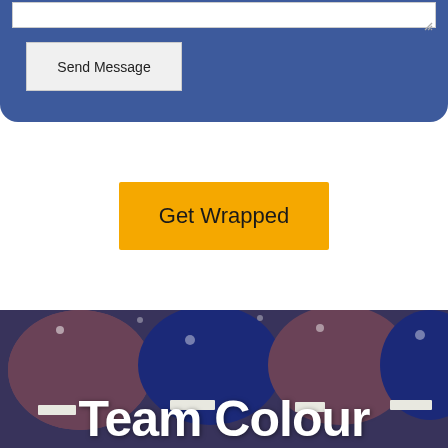[Figure (screenshot): Blue rounded card with a textarea input box (with resize handle) and a 'Send Message' button]
Send Message
[Figure (screenshot): Yellow 'Get Wrapped' call-to-action button centered on white background]
Get Wrapped
[Figure (photo): Photo of football helmets in orange and dark blue colors with a blue overlay tint, with 'Team Colour' text overlaid in white bold font]
Team Colour